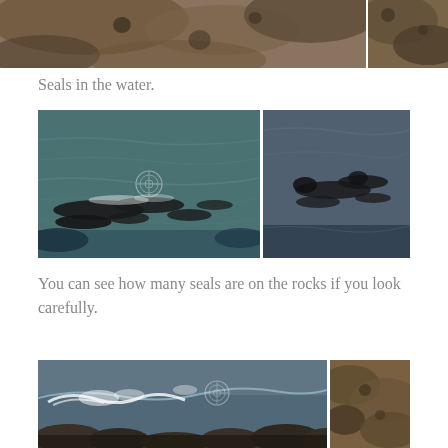[Figure (photo): Two rock photos side by side at top of page, showing dark brown rocky coastal terrain, partially cropped]
Seals in the water.
[Figure (photo): Two photos side by side of seals in ocean water, dark seal bodies visible amid choppy blue-green water, watermark visible on left photo]
You can see how many seals are on the rocks if you look carefully.
[Figure (photo): Two partially visible photos at bottom: left showing ocean waves crashing over rocks with watermark, right showing rocky coastal terrain, both cropped at bottom]